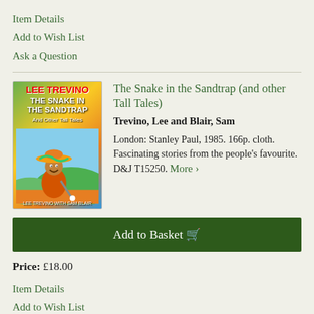Item Details
Add to Wish List
Ask a Question
[Figure (photo): Book cover of 'The Snake in the Sandtrap and Other Tall Tales' by Lee Trevino with Sam Blair, featuring a cartoon of Lee Trevino in a sombrero holding a golf club]
The Snake in the Sandtrap (and other Tall Tales)
Trevino, Lee and Blair, Sam
London: Stanley Paul, 1985. 166p. cloth. Fascinating stories from the people's favourite. D&J T15250. More ›
Add to Basket 🛒
Price: £18.00
Item Details
Add to Wish List